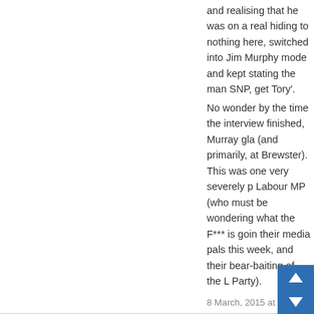and realising that he was on a real hiding to nothing here, switched into Jim Murphy mode and kept stating the man SNP, get Tory'.
No wonder by the time the interview finished, Murray gla (and primarily, at Brewster). This was one very severely p Labour MP (who must be wondering what the F*** is goin their media pals this week, and their bear-baiting of the L Party).
8 March, 2015 at 1:26 pm
jethro says:
'Though cowards flinch and ("Tractor" - Ed)s sneer….'?
Beats me how any Labour politician these days could sin Flag without choking on the words. I know what the likes Bevan would have made of this great socialist, who woul see the Tories in office rather than join in a progressive a stand up for the ordinary people.
It's getting bizarre when the biggest threat to Ed Miliband No. 10 could be a large block of SLAB dinosaur M should start campaigning for the SNP if he really w